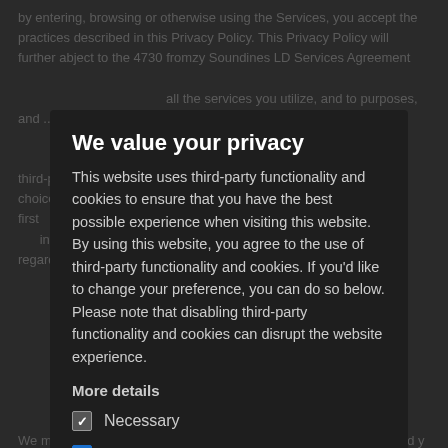by entering, browsing or otherwise using the Services, you accept the practices described in this Privacy Policy. This Privacy Policy will further abject to the 4730 fromzy Soundines LD Services Agreement further abject to the all services you utilized, and to pu... Information and all access you have to ... choices you have regarding the collection, use and determination of first information and all assess you have to ... choices you have regarding the collection, use and determination of first ...
We value your privacy
This website uses third-party functionality and cookies to ensure that you have the best possible experience when visiting this website. By using this website, you agree to the use of third-party functionality and cookies. If you'd like to change your preference, you can do so below. Please note that disabling third-party functionality and cookies can disrupt the website experience.
More details
Necessary
Third-party cookies
Accept selected
Accept all